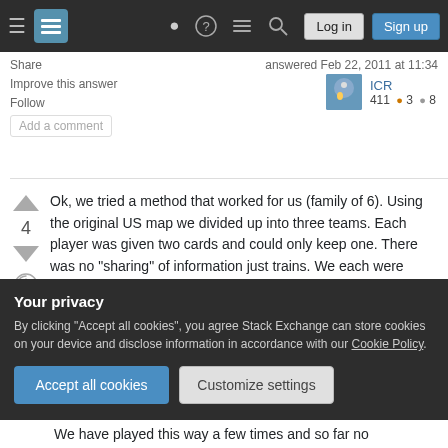Stack Exchange navigation bar with Log in and Sign up buttons
Share   answered Feb 22, 2011 at 11:34
Improve this answer
Follow
Add a comment
ICR  411 ●3 ●8
Ok, we tried a method that worked for us (family of 6). Using the original US map we divided up into three teams. Each player was given two cards and could only keep one. There was no "sharing" of information just trains. We each were given 4 train cards to start the game and we were off. New
Your privacy
By clicking "Accept all cookies", you agree Stack Exchange can store cookies on your device and disclose information in accordance with our Cookie Policy.
Accept all cookies
Customize settings
We have played this way a few times and so far no